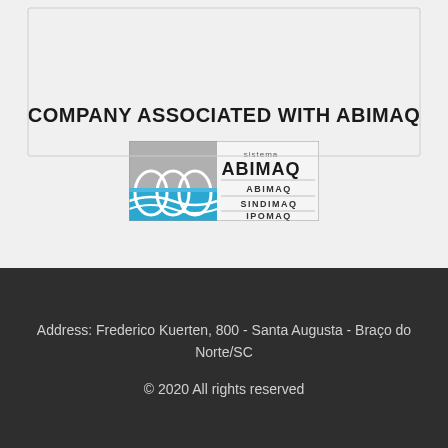COMPANY ASSOCIATED WITH ABIMAQ
[Figure (logo): ABIMAQ sistema logo with stylized globe graphic and text: sistema ABIMAQ, ABIMAQ, SINDIMAQ, IPOMAQ]
Address: Frederico Kuerten, 800 - Santa Augusta - Braço do Norte/SC
© 2020 All rights reserved